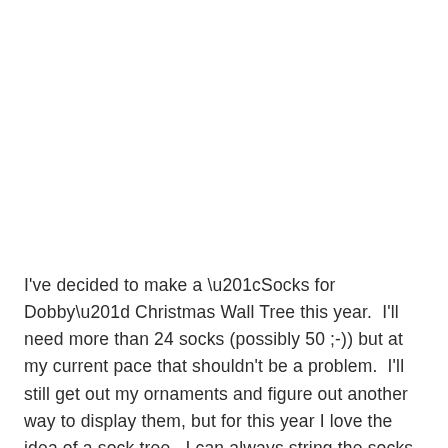I've decided to make a “Socks for Dobby” Christmas Wall Tree this year.  I'll need more than 24 socks (possibly 50 ;-)) but at my current pace that shouldn’t be a problem.  I'll still get out my ornaments and figure out another way to display them, but for this year I love the idea of a sock tree.  I can always string the socks into a garland in the